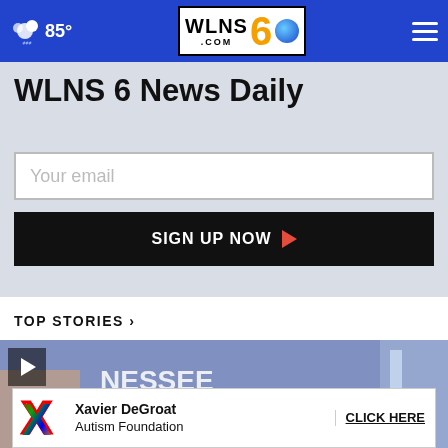WLNS 6 News - 85° weather - navigation menu
WLNS 6 News Daily
Your email
SIGN UP NOW
TOP STORIES ›
[Figure (photo): Police car or vehicle with Tennessee license plate visible, blue tones]
[Figure (infographic): Xavier DeGroat Autism Foundation advertisement banner with colorful X logo and CLICK HERE call to action]